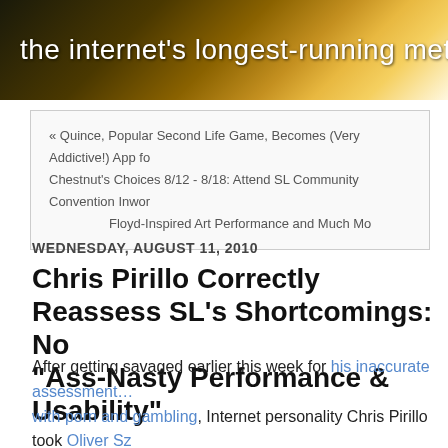the internet's longest-running metaverse news and cultu…
« Quince, Popular Second Life Game, Becomes (Very Addictive!) App fo… Chestnut's Choices 8/12 - 8/18: Attend SL Community Convention Inwor… Floyd-Inspired Art Performance and Much Mo…
WEDNESDAY, AUGUST 11, 2010
Chris Pirillo Correctly Reassess SL's Shortcomings: No… "Ass-Nasty Performance & Usability"
After getting savaged earlier this week for his inaccurate assessment… with porn and gambling, Internet personality Chris Pirillo took Oliver Sz… Second Life with an in-person tour. Now Pirillo has come back with a mu… say, it's painful to watch: